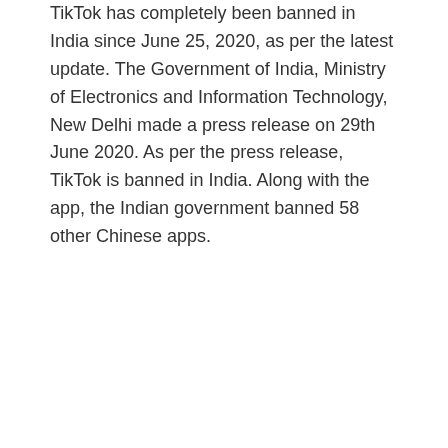TikTok has completely been banned in India since June 25, 2020, as per the latest update. The Government of India, Ministry of Electronics and Information Technology, New Delhi made a press release on 29th June 2020. As per the press release, TikTok is banned in India. Along with the app, the Indian government banned 58 other Chinese apps.